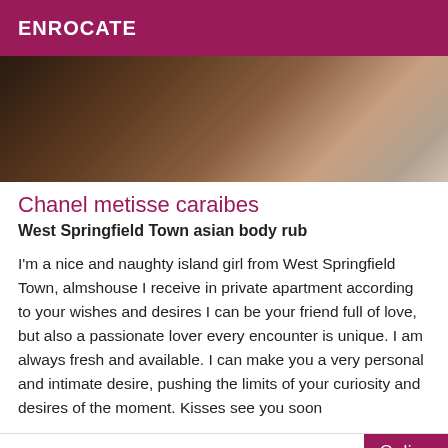ENROCATE
[Figure (photo): Close-up photo of human skin tones, suggesting intertwined arms or bodies with warm brown and tan skin.]
Chanel metisse caraibes
West Springfield Town asian body rub
I'm a nice and naughty island girl from West Springfield Town, almshouse I receive in private apartment according to your wishes and desires I can be your friend full of love, but also a passionate lover every encounter is unique. I am always fresh and available. I can make you a very personal and intimate desire, pushing the limits of your curiosity and desires of the moment. Kisses see you soon
Online